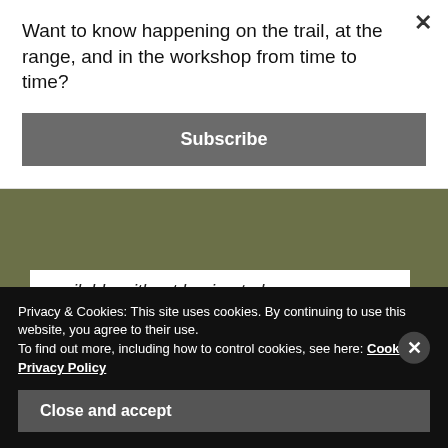available without having to buy a new scope.
Advertisements
[Figure (illustration): Advertisement banner with large bold text reading 'Business in the front...' on a light pink/beige background with an orange bar below]
Want to know happening on the trail, at the range, and in the workshop from time to time?
Subscribe
Privacy & Cookies: This site uses cookies. By continuing to use this website, you agree to their use.
To find out more, including how to control cookies, see here: Cookie & Privacy Policy
Close and accept